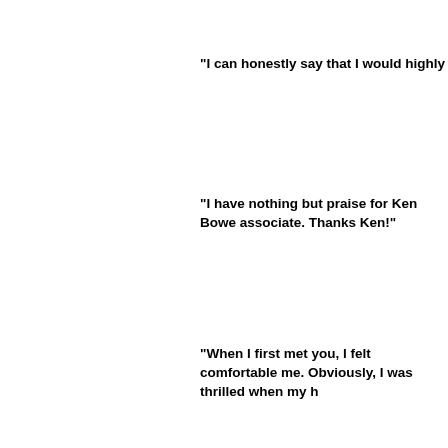"I can honestly say that I would highly r
"I have nothing but praise for Ken Bowe associate.  Thanks Ken!"
"When I first met you, I felt comfortable me.  Obviously, I was thrilled when my h
"The advice you gave me was right on a
"Ken, both my wife and I recommend yo